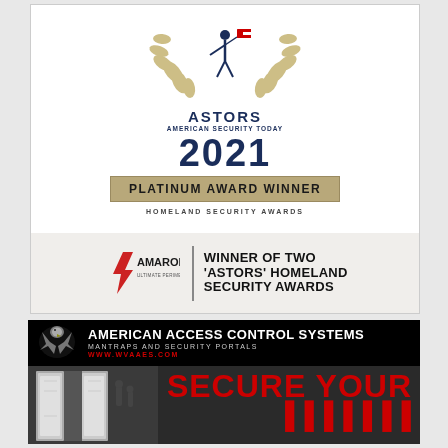[Figure (logo): ASTORS American Security Today 2021 Platinum Award Winner - Homeland Security Awards. Shows a laurel wreath with a figure holding a flag on top, large '2021' text, a gold/tan banner reading 'PLATINUM AWARD WINNER', and text 'HOMELAND SECURITY AWARDS'.]
[Figure (logo): AMAROK Ultimate Perimeter Security logo with red lightning bolt icon, next to text: 'WINNER OF TWO ASTORS HOMELAND SECURITY AWARDS']
[Figure (logo): American Access Control Systems advertisement banner. Black header with eagle logo, company name 'AMERICAN ACCESS CONTROL SYSTEMS', subtitle 'MANTRAPS AND SECURITY PORTALS', URL 'WWW.WVAAES.COM'. Below: dark image of security portal/mantrap on left side, large red text 'SECURE YOUR' and partial text below.]